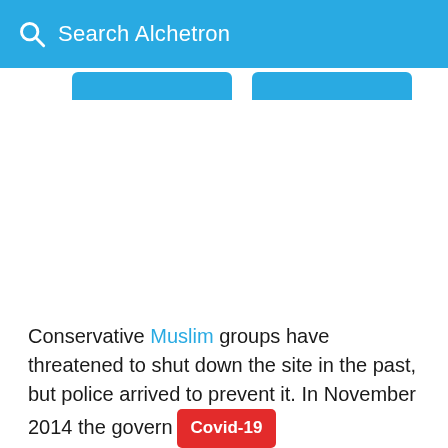Search Alchetron
Conservative Muslim groups have threatened to shut down the site in the past, but police arrived to prevent it. In November 2014 the govern[ment]...